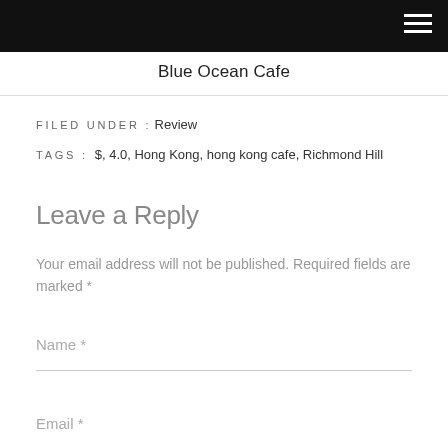[Figure (photo): Top portion of a food/cafe photo showing a dark background with a pale circular object, partially cropped by the black navigation bar.]
Blue Ocean Cafe
FILED UNDER : Review
TAGS : $, 4.0, Hong Kong, hong kong cafe, Richmond Hill
Leave a Reply
Your email address will not be published. Required fields are marked *
Name *
Email *